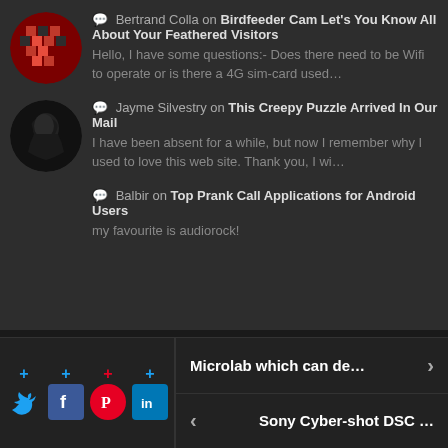Bertrand Colla on Birdfeeder Cam Let's You Know All About Your Feathered Visitors — Hello, I have some questions:- Does there need to be Wifi to operate or is there a 4G sim-card used...
Jayme Silvestry on This Creepy Puzzle Arrived In Our Mail — I have been absent for a while, but now I remember why I used to love this web site. Thank you, I wi...
Balbir on Top Prank Call Applications for Android Users — my favourite is audiorock!
[Figure (screenshot): Bottom navigation bar with social share buttons (Twitter, Facebook, Pinterest, LinkedIn) and two article navigation links: 'Microlab which can de...' (next) and 'Sony Cyber-shot DSC ...' (previous)]